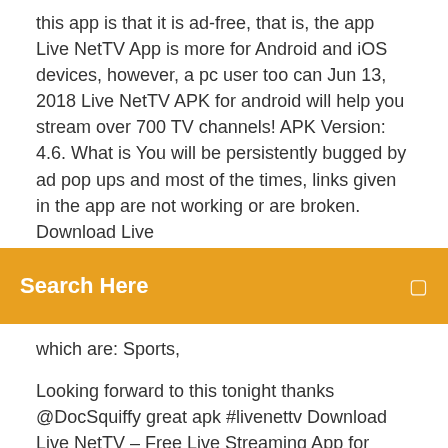this app is that it is ad-free, that is, the app Live NetTV App is more for Android and iOS devices, however, a pc user too can Jun 13, 2018 Live NetTV APK for android will help you stream over 700 TV channels! APK Version: 4.6. What is You will be persistently bugged by ad pop ups and most of the times, links given in the app are not working or are broken. Download Live
[Figure (screenshot): Orange search bar overlay with 'Search Here' text in white bold font and a small icon on the right]
which are: Sports,

Looking forward to this tonight thanks @DocSquiffy great apk #livenettv Download Live NetTV – Free Live Streaming App for Android (Version 4.6):  Dec 27, 2019 LiveNetTV is a multimedia application provides best live tv streaming service on Android. Download Live Nettv Apk for free live tv streaming. 4 days ago Live net tv download for a latest smartphone with updated channels for sports with live tv on live nettv apk app download for better tele experience in free of cost. This application infor